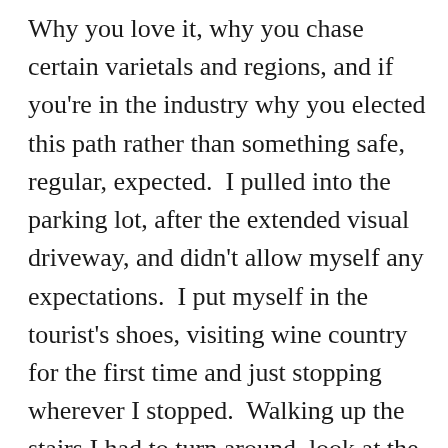Why you love it, why you chase certain varietals and regions, and if you're in the industry why you elected this path rather than something safe, regular, expected.  I pulled into the parking lot, after the extended visual driveway, and didn't allow myself any expectations.  I put myself in the tourist's shoes, visiting wine country for the first time and just stopping wherever I stopped.  Walking up the stairs I had to turn around, look at the hill and the mise en scèn that held my scope with the building behind me.  Turning around again toward the door, I walked in and was ready for whatever would be offered.  Again,  first time.  Tourist